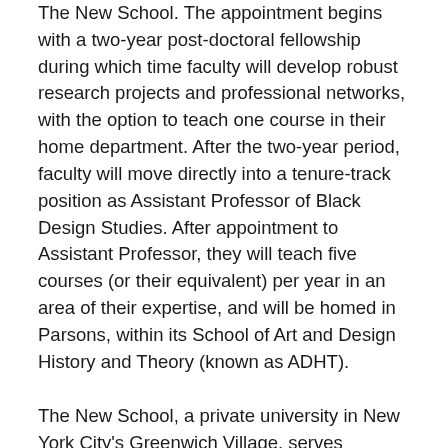The New School. The appointment begins with a two-year post-doctoral fellowship during which time faculty will develop robust research projects and professional networks, with the option to teach one course in their home department. After the two-year period, faculty will move directly into a tenure-track position as Assistant Professor of Black Design Studies. After appointment to Assistant Professor, they will teach five courses (or their equivalent) per year in an area of their expertise, and will be homed in Parsons, within its School of Art and Design History and Theory (known as ADHT).
The New School, a private university in New York City's Greenwich Village, serves undergraduate and graduate students across a range of fields with a commitment to bringing practices in design and social research to studying issues of our time and challenging students to become engaged citizens dedicated to solving problems and contributing to the public good.
You can find more information about the School of Art and